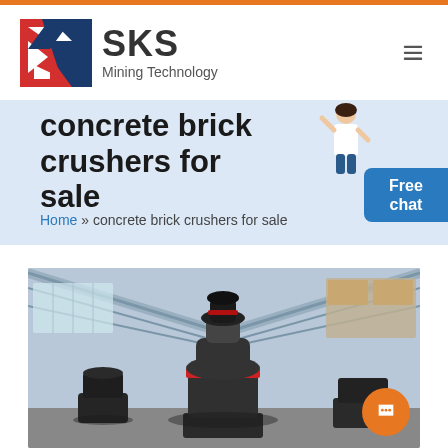[Figure (logo): SKS Mining Technology logo with red and blue shield icon and company name]
concrete brick crushers for sale
Home » concrete brick crushers for sale
[Figure (photo): Industrial cone crusher machine inside a large steel-frame factory building with high ceilings and natural lighting]